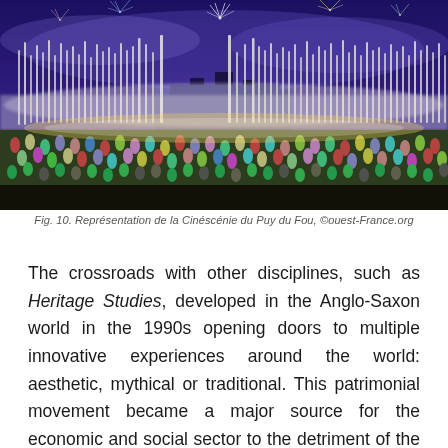[Figure (photo): Nighttime spectacle show at Puy du Fou, France: large crowd on grass in foreground, water fountains and fireworks illuminating the sky, historic castle building in background with blue lighting and mist.]
Fig. 10. Représentation de la Cinéscénie du Puy du Fou, ©ouest-France.org
The crossroads with other disciplines, such as Heritage Studies, developed in the Anglo-Saxon world in the 1990s opening doors to multiple innovative experiences around the world: aesthetic, mythical or traditional. This patrimonial movement became a major source for the economic and social sector to the detriment of the state. However, although heritage has given rise to new forms of action that are sometimes opposed to